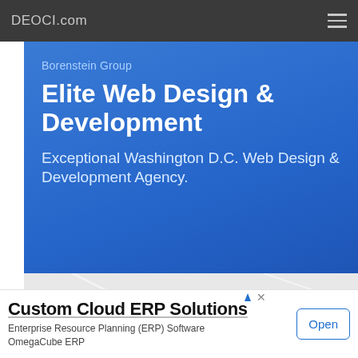DEOCI.com
Borenstein Group
Elite Web Design & Development
Exceptional Washington D.C. Web Design & Development Agency.
[Figure (map): Street map showing highway interchange, yellow roads on grey background with a red location pin marker and green area]
Custom Cloud ERP Solutions
Enterprise Resource Planning (ERP) Software
OmegaCube ERP
Open